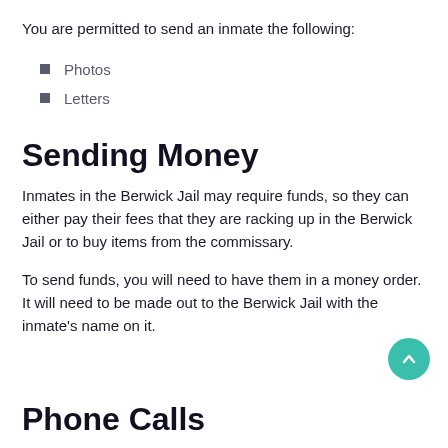You are permitted to send an inmate the following:
Photos
Letters
Sending Money
Inmates in the Berwick Jail may require funds, so they can either pay their fees that they are racking up in the Berwick Jail or to buy items from the commissary.
To send funds, you will need to have them in a money order. It will need to be made out to the Berwick Jail with the inmate's name on it.
Phone Calls